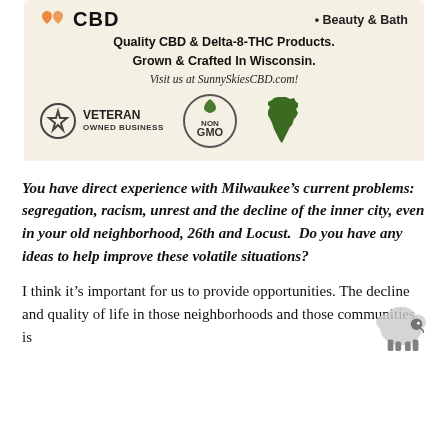[Figure (advertisement): Advertisement for Sunny Skies CBD. Shows CBD logo with orange heart icons, bullet point 'Beauty & Bath', tagline 'Quality CBD & Delta-8-THC Products. Grown & Crafted In Wisconsin.', italic text 'Visit us at SunnySkiesCBD.com!', badges for Veteran Owned Business, Non GMO, and Wisconsin state silhouette.]
You have direct experience with Milwaukee's current problems: segregation, racism, unrest and the decline of the inner city, even in your old neighborhood, 26th and Locust. Do you have any ideas to help improve these volatile situations?
I think it's important for us to provide opportunities. The decline and quality of life in those neighborhoods and those communities is